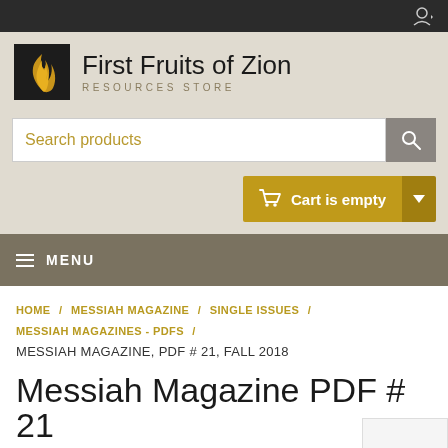First Fruits of Zion — RESOURCES STORE
[Figure (logo): First Fruits of Zion logo: black square with gold flame/wheat icon, beside text 'First Fruits of Zion' and 'RESOURCES STORE']
Search products
Cart is empty
MENU
HOME / MESSIAH MAGAZINE / SINGLE ISSUES / MESSIAH MAGAZINES - PDFS / MESSIAH MAGAZINE, PDF # 21, FALL 2018
Messiah Magazine PDF # 21